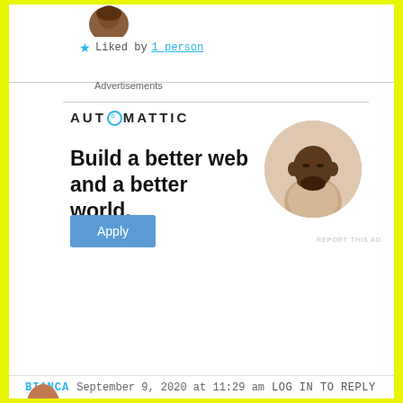[Figure (photo): Partial profile photo at top, showing head and shoulders of a person with dark hair]
★ Liked by 1_person
Advertisements
[Figure (logo): AUTOMATTIC logo with a compass/target icon replacing the O]
Build a better web and a better world.
[Figure (photo): Circular photo of a man in a beige shirt sitting at a desk, looking upward thoughtfully with hand near chin]
Apply
REPORT THIS AD
BIANCA   September 9, 2020 at 11:29 am   LOG IN TO REPLY
[Figure (photo): Partial profile avatar at bottom left]